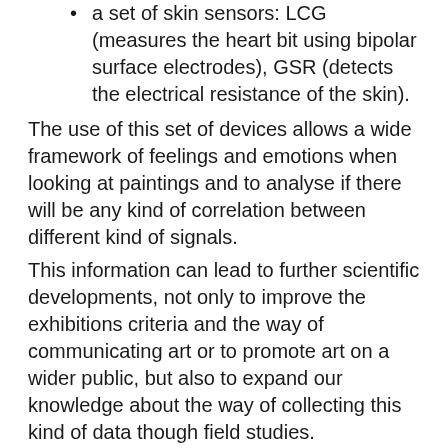a set of skin sensors: LCG (measures the heart bit using bipolar surface electrodes), GSR (detects the electrical resistance of the skin).
The use of this set of devices allows a wide framework of feelings and emotions when looking at paintings and to analyse if there will be any kind of correlation between different kind of signals.
This information can lead to further scientific developments, not only to improve the exhibitions criteria and the way of communicating art or to promote art on a wider public, but also to expand our knowledge about the way of collecting this kind of data though field studies.
Compared to the traditional visit to an exhibition, a little patience is required, because the trial preparation need at least:
10' to read and sign of the informed consent (even if you have the opportunity to read it online before asking to apply) and for the